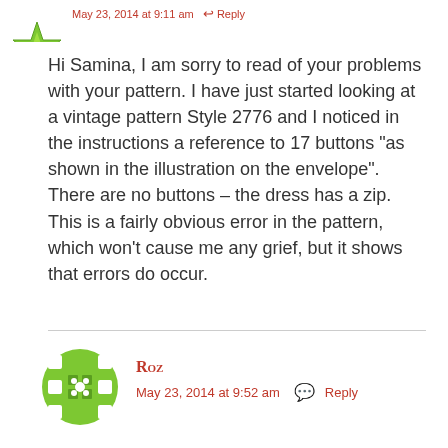[Figure (illustration): Small green star/snowflake avatar icon at top left, partially cropped]
May 23, 2014 at 9:11 am · Reply
Hi Samina, I am sorry to read of your problems with your pattern. I have just started looking at a vintage pattern Style 2776 and I noticed in the instructions a reference to 17 buttons "as shown in the illustration on the envelope". There are no buttons – the dress has a zip. This is a fairly obvious error in the pattern, which won't cause me any grief, but it shows that errors do occur.
Like
[Figure (illustration): Green circular avatar icon with film reel / grid pattern for user Roz]
Roz
May 23, 2014 at 9:52 am · Reply